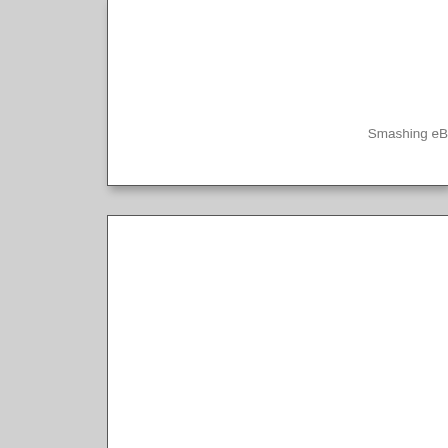Smashing eB
.box1 { box-flex: 2; }
.box2 { box-flex: 1; }
.box3 { box-flex: 1; }
Here’s what it looks like: